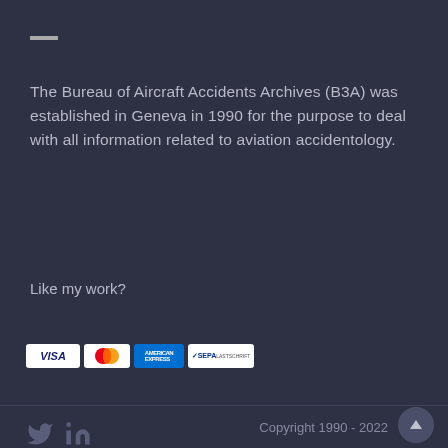[Figure (other): Horizontal dark gray decorative bar/divider line]
The Bureau of Aircraft Accidents Archives (B3A) was established in Geneva in 1990 for the purpose to deal with all information related to aviation accidentology.
Like my work?
[Figure (other): PayPal Donate button (yellow rounded rectangle) with payment logos below: VISA, Mastercard, American Express, SEPA]
Copyright 1990 - 2022
[Figure (other): Social media icons: Twitter bird icon and LinkedIn 'in' icon]